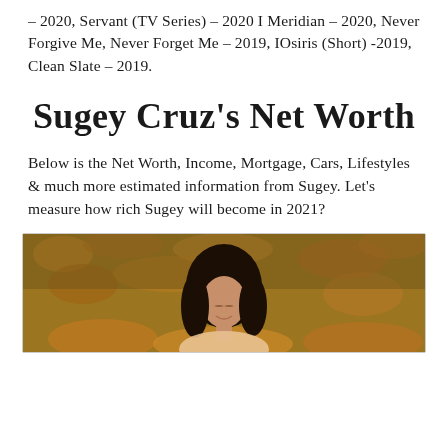– 2020, Servant (TV Series) – 2020 I Meridian – 2020, Never Forgive Me, Never Forget Me – 2019, IOsiris (Short) -2019, Clean Slate – 2019.
Sugey Cruz's Net Worth
Below is the Net Worth, Income, Mortgage, Cars, Lifestyles & much more estimated information from Sugey. Let's measure how rich Sugey will become in 2021?
[Figure (photo): Photo of Sugey Cruz outdoors among autumn leaves, woman with dark curly hair, smiling with eyes closed]